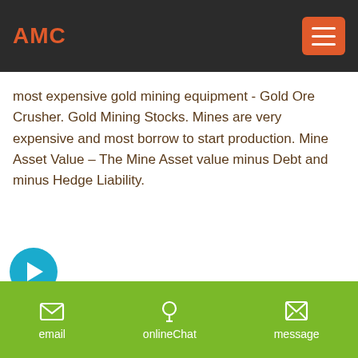AMC
most expensive gold mining equipment - Gold Ore Crusher. Gold Mining Stocks. Mines are very expensive and most borrow to start production. Mine Asset Value – The Mine Asset value minus Debt and minus Hedge Liability.
[Figure (other): Blue circular arrow button pointing right]
[Figure (photo): Photo of gold mining equipment against a blue sky background, with two pieces of heavy machinery visible]
[Figure (other): Green circular notification/rocket badge icon]
email   onlineChat   message